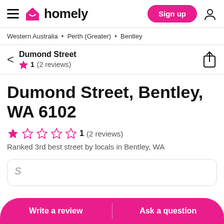homely — Sign up
Western Australia • Perth (Greater) • Bentley
Dumond Street ★ 1 (2 reviews)
Dumond Street, Bentley, WA 6102
1 (2 reviews)
Ranked 3rd best street by locals in Bentley, WA
Write a review   Ask a question